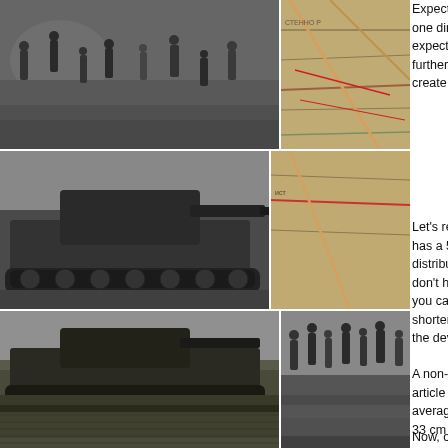[Figure (photo): Black and white photo collage on left side of page showing military scenes: soldiers, a tank with large cannon, maps, and infantry groups]
Expected deviation is similar to the 50% radius but only in one direction. 50% of the shells will land closer than the expected deviation figure, 50% of the shells will land on the further side. Using the two expected deviations together will create an oval inside of which 50% of you shells will land.
Let's revisit the guns in the previous accuracy article. The D-25 has a 50% radius of 24 cm. However, you may note that the distribution of shots in that radius is not circular. While I don't have the exact data for the D-25's actual distribution, you can clearly see that the result would be an oval that is shorter than it is wide. It is pretty trivial to surmise that the deviations should be approximately 24 cm and less.
A non-circular result is very common. The F-22 as used in the article has a 50% radius of 32 cm at 1000 m, but the average deviations are different from that: 29 cm for vertical, 33 cm for horizontal.
Now, on to some new guns! Artillery tables generally list deviations for lots of distances and propellant charges. I obviously not list all of them. The deviations listed are at 1000 meters, at a full charge, with as many shells as I could find. Deviations are taken from the appropriate tables when I have the full ones, so if you need them...